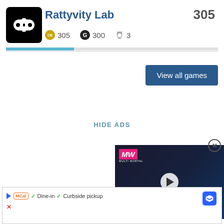Rattyvity Lab
305  305  300  3
View all games
HIDE ADS
[Figure (screenshot): Video ad for Alone in the Dark Remake with MW logo, play button overlay on dark gaming scene]
[Figure (screenshot): Bottom ad banner with McAls logo, checkmarks for Dine-in and Curbside pickup, and navigation arrow button]